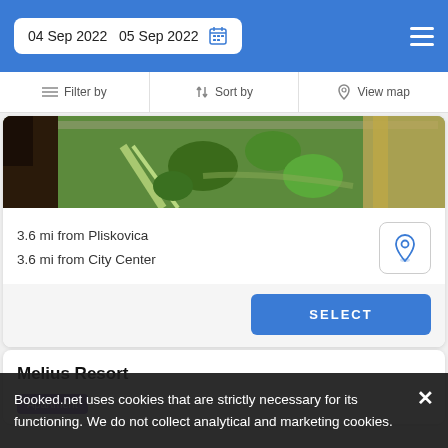04 Sep 2022  05 Sep 2022
Filter by  Sort by  View map
[Figure (photo): Aerial view of green garden/landscape with path and stone wall]
3.6 mi from Pliskovica
3.6 mi from City Center
SELECT
Melius Resort
Apartment
Booked.net uses cookies that are strictly necessary for its functioning. We do not collect analytical and marketing cookies.